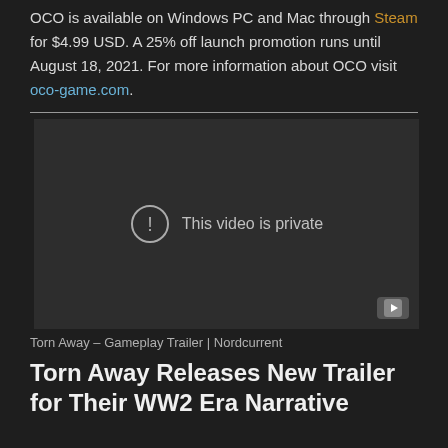OCO is available on Windows PC and Mac through Steam for $4.99 USD. A 25% off launch promotion runs until August 18, 2021. For more information about OCO visit oco-game.com.
[Figure (screenshot): Embedded video player showing 'This video is private' message with a YouTube icon in the bottom right corner.]
Torn Away – Gameplay Trailer | Nordcurrent
Torn Away Releases New Trailer for Their WW2 Era Narrative